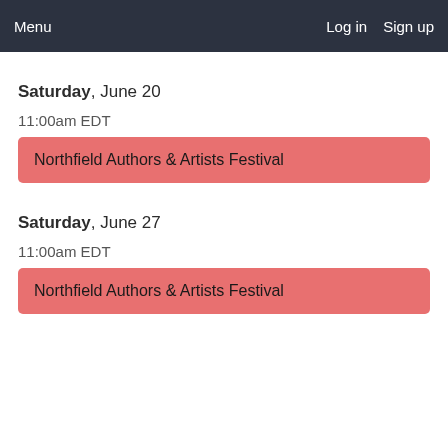Menu   Log in   Sign up
Saturday, June 20
11:00am EDT
Northfield Authors & Artists Festival
Saturday, June 27
11:00am EDT
Northfield Authors & Artists Festival